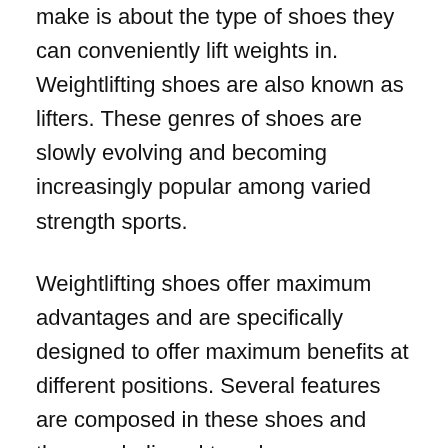make is about the type of shoes they can conveniently lift weights in. Weightlifting shoes are also known as lifters. These genres of shoes are slowly evolving and becoming increasingly popular among varied strength sports.
Weightlifting shoes offer maximum advantages and are specifically designed to offer maximum benefits at different positions. Several features are composed in these shoes and they are believed to enhance performance greatly. These types of shoes are in general flat, which is a feature provided to enhance the stability of the wearer. Hence, more power is furnished while lifting weights. These shoes are appropriate for weightlifting methods being designed to perform